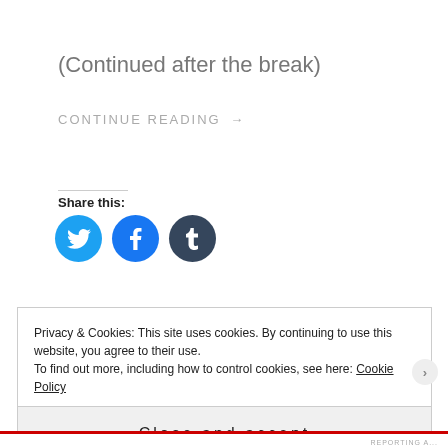(Continued after the break)
CONTINUE READING →
Share this:
[Figure (illustration): Three social media share buttons: Twitter (blue circle with bird icon), Facebook (blue circle with f icon), Tumblr (dark circle with t icon)]
Privacy & Cookies: This site uses cookies. By continuing to use this website, you agree to their use.
To find out more, including how to control cookies, see here: Cookie Policy
Close and accept